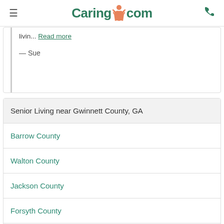Caring.com
livin... Read more
— Sue
Senior Living near Gwinnett County, GA
Barrow County
Walton County
Jackson County
Forsyth County
Hall County